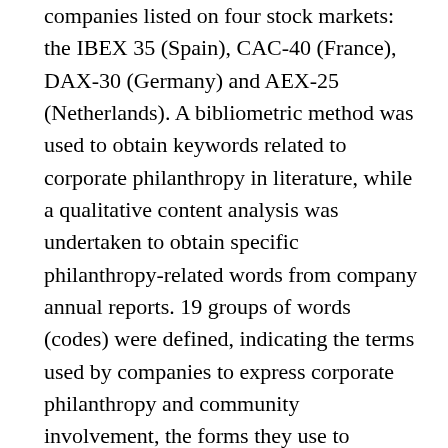companies listed on four stock markets: the IBEX 35 (Spain), CAC-40 (France), DAX-30 (Germany) and AEX-25 (Netherlands). A bibliometric method was used to obtain keywords related to corporate philanthropy in literature, while a qualitative content analysis was undertaken to obtain specific philanthropy-related words from company annual reports. 19 groups of words (codes) were defined, indicating the terms used by companies to express corporate philanthropy and community involvement, the forms they use to express such involvement, and the formulas chosen to channel their aid. The word analysis also gave information about the stakeholders that companies take into account when they become involved in community issues. Different hypotheses were stated to determine whether the use of words was related to country, firm size (revenues and employees) or industry. The use of probit regression also allowed us to obtain combinations of these variables that explained the probability of using every term together but not separately. The results